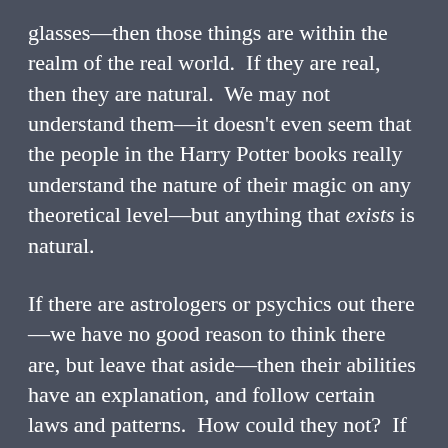glasses—then those things are within the realm of the real world.  If they are real, then they are natural.  We may not understand them—it doesn't even seem that the people in the Harry Potter books really understand the nature of their magic on any theoretical level—but anything that exists is natural.
If there are astrologers or psychics out there—we have no good reason to think there are, but leave that aside—then their abilities have an explanation, and follow certain laws and patterns.  How could they not?  If they were lawless, they would not be powers at all, and could hardly be useful.  Similarly, if there were to exist the capability to move objects with the